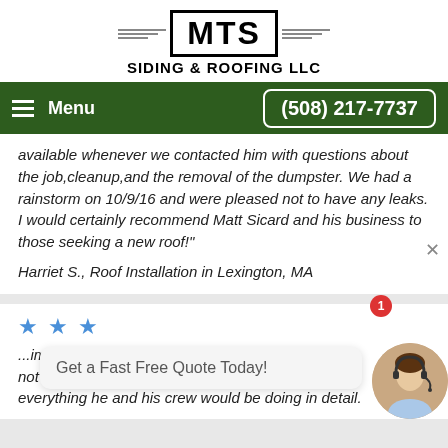[Figure (logo): MTS Siding & Roofing LLC logo with wing graphics and company name below]
Menu  (508) 217-7737
available whenever we contacted him with questions about the job,cleanup,and the removal of the dumpster. We had a rainstorm on 10/9/16 and were pleased not to have any leaks. I would certainly recommend Matt Sicard and his business to those seeking a new roof!"
Harriet S., Roof Installation in Lexington, MA
★★★ ...ima not only g ...main everything he and his crew would be doing in detail.
Get a Fast Free Quote Today!